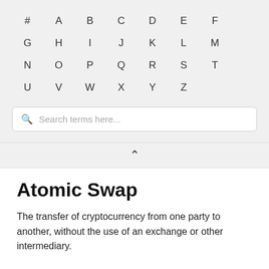# A B C D E F G H I J K L M N O P Q R S T U V W X Y Z
Search terms here...
Atomic Swap
The transfer of cryptocurrency from one party to another, without the use of an exchange or other intermediary.
AtomicDEX